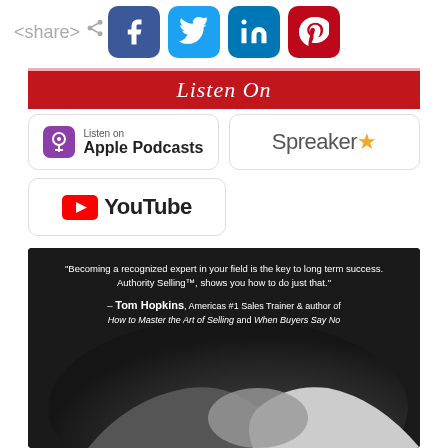[Figure (infographic): Social media share icons: Facebook (blue), Twitter (light blue), LinkedIn (dark blue), Pinterest (red)]
Listen On
[Figure (logo): Apple Podcasts button with purple podcast icon]
[Figure (logo): Spreaker logo with gold star]
[Figure (logo): YouTube button with red play icon]
[Figure (photo): Dark background image with a quote from Tom Hopkins over a handshake photo. Quote: "Becoming a recognized expert in your field is the key to long term success. Authority Selling™, shows you how to do just that." – Tom Hopkins, Americas #1 Sales Trainer & author of How to Master the Art of Selling and When Buyers Say No]